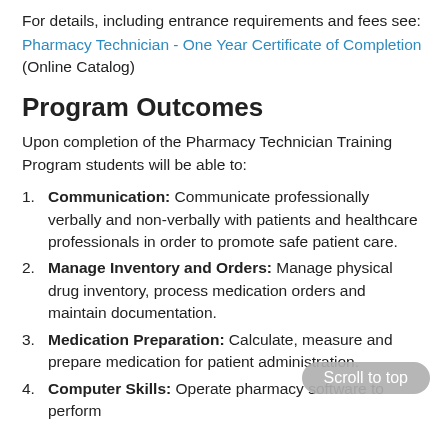For details, including entrance requirements and fees see:
Pharmacy Technician - One Year Certificate of Completion (Online Catalog)
Program Outcomes
Upon completion of the Pharmacy Technician Training Program students will be able to:
Communication: Communicate professionally verbally and non-verbally with patients and healthcare professionals in order to promote safe patient care.
Manage Inventory and Orders: Manage physical drug inventory, process medication orders and maintain documentation.
Medication Preparation: Calculate, measure and prepare medication for patient administration.
Computer Skills: Operate pharmacy software to perform